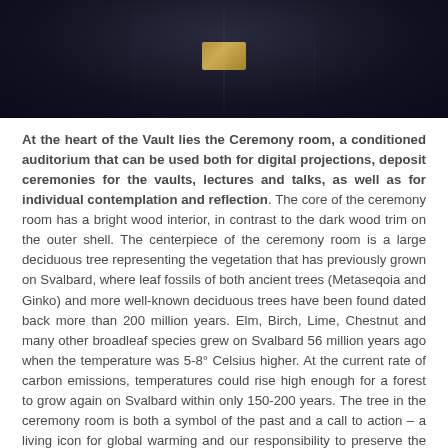[Figure (photo): Dark interior photograph showing draped dark fabric or ceiling with a small golden/yellow rectangular patch or plaque visible in the center]
At the heart of the Vault lies the Ceremony room, a conditioned auditorium that can be used both for digital projections, deposit ceremonies for the vaults, lectures and talks, as well as for individual contemplation and reflection. The core of the ceremony room has a bright wood interior, in contrast to the dark wood trim on the outer shell. The centerpiece of the ceremony room is a large deciduous tree representing the vegetation that has previously grown on Svalbard, where leaf fossils of both ancient trees (Metaseqoia and Ginko) and more well-known deciduous trees have been found dated back more than 200 million years. Elm, Birch, Lime, Chestnut and many other broadleaf species grew on Svalbard 56 million years ago when the temperature was 5-8° Celsius higher. At the current rate of carbon emissions, temperatures could rise high enough for a forest to grow again on Svalbard within only 150-200 years. The tree in the ceremony room is both a symbol of the past and a call to action – a living icon for global warming and our responsibility to preserve the Arctic, and all of nature, for future generations.